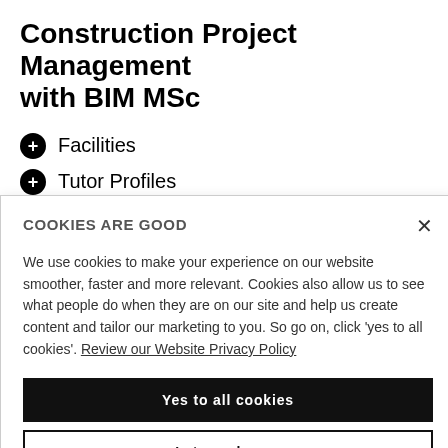Construction Project Management with BIM MSc
Facilities
Tutor Profiles
Student Profiles
Research
COOKIES ARE GOOD
We use cookies to make your experience on our website smoother, faster and more relevant. Cookies also allow us to see what people do when they are on our site and help us create content and tailor our marketing to you. So go on, click 'yes to all cookies'. Review our Website Privacy Policy
Yes to all cookies
Let me choose